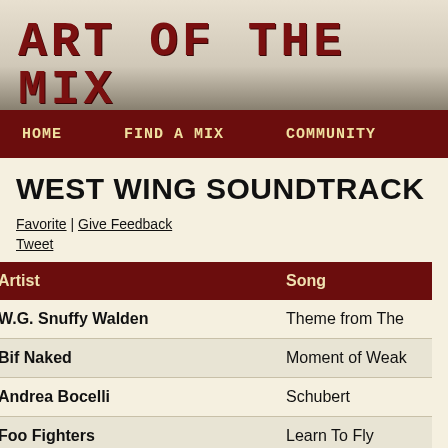ART OF THE MIX
HOME   FIND A MIX   COMMUNITY
WEST WING SOUNDTRACK
Favorite | Give Feedback
Tweet
| Artist | Song |
| --- | --- |
| W.G. Snuffy Walden | Theme from The… |
| Bif Naked | Moment of Weak… |
| Andrea Bocelli | Schubert |
| Foo Fighters | Learn To Fly |
| Manheim Steamroller | Little Drummer B… |
| Ronny Jordan | The Jackal |
| Kool and the Gang | Celebration |